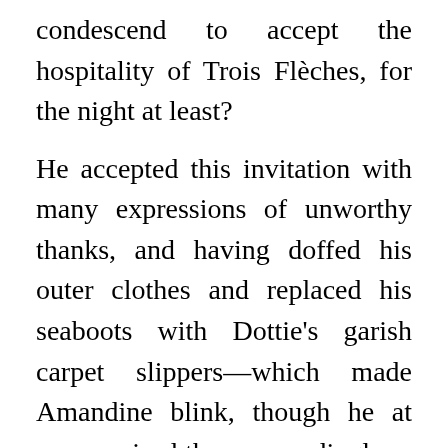condescend to accept the hospitality of Trois Flèches, for the night at least?
He accepted this invitation with many expressions of unworthy thanks, and having doffed his outer clothes and replaced his seaboots with Dottie's garish carpet slippers—which made Amandine blink, though he at once praised them exceedingly—he was propelled down a long corridor lined with portraits.
“We will take some refreshment in the library,” Amandine was saying. “Plainly, you are perishing of cold and inanition. But if you do